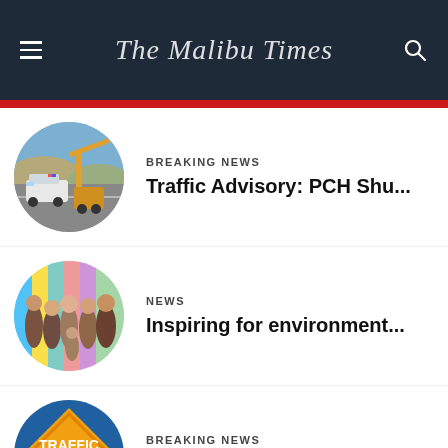The Malibu Times
[Figure (photo): News article thumbnail: police SUV on a road with a crane/construction vehicle, circle-cropped]
BREAKING NEWS
Traffic Advisory: PCH Shu...
[Figure (photo): News article thumbnail: group of young people standing in front of colorful surfboards, circle-cropped]
NEWS
Inspiring for environment...
[Figure (photo): News article thumbnail: orange diamond-shaped traffic alert sign reading TRAFFIC ALERT, circle-cropped]
BREAKING NEWS
Traffic Advisory: Zuma an...